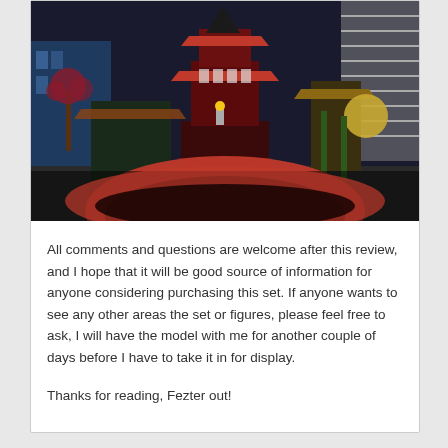[Figure (photo): Photo of a LEGO Ninjago set displayed from a low angle, showing a multi-tiered red and black Japanese-style temple tower in the center, with other LEGO buildings and minifigures surrounding it. A red curved piece (possibly a boat or vehicle) is prominently in the foreground, blurred. The background shows more LEGO city scenes.]
All comments and questions are welcome after this review, and I hope that it will be good source of information for anyone considering purchasing this set. If anyone wants to see any other areas the set or figures, please feel free to ask, I will have the model with me for another couple of days before I have to take it in for display.
Thanks for reading, Fezter out!